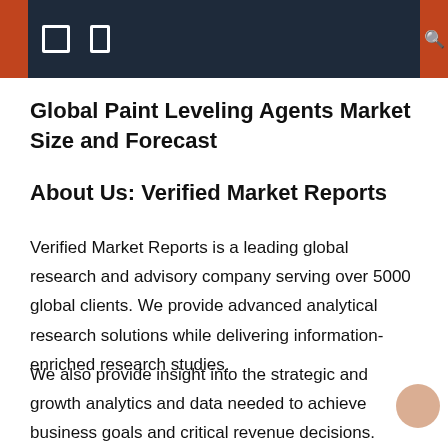Global Paint Leveling Agents Market Size and Forecast
Global Paint Leveling Agents Market Size and Forecast
About Us: Verified Market Reports
Verified Market Reports is a leading global research and advisory company serving over 5000 global clients. We provide advanced analytical research solutions while delivering information-enriched research studies.
We also provide insight into the strategic and growth analytics and data needed to achieve business goals and critical revenue decisions.